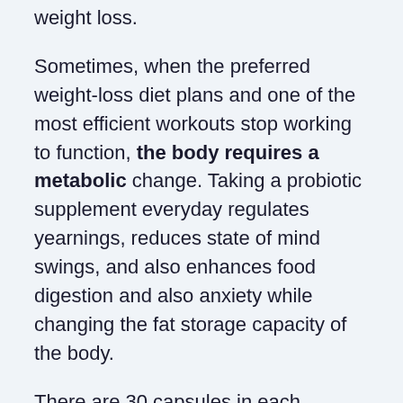weight loss.
Sometimes, when the preferred weight-loss diet plans and one of the most efficient workouts stop working to function, the body requires a metabolic change. Taking a probiotic supplement everyday regulates yearnings, reduces state of mind swings, and also enhances food digestion and also anxiety while changing the fat storage capacity of the body.
There are 30 capsules in each container of LeanBiome, and also this one bottle is enough for the entire month. Every capsule is made with specific nutritional active ingredients, playing a practical role in weight loss. It may work without diet regimen and exercise, yet the faster outcomes